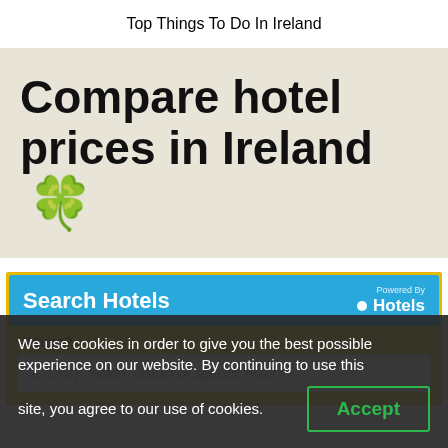Top Things To Do In Ireland
Compare hotel prices in Ireland 🍀
[Figure (screenshot): Hotel search widget with blue header reading 'Search Hotels', 'Powered By Hotels', a 'Where?' label and an input box placeholder 'e.g. city, region, district or specific hotel']
We use cookies in order to give you the best possible experience on our website. By continuing to use this site, you agree to our use of cookies.  Accept